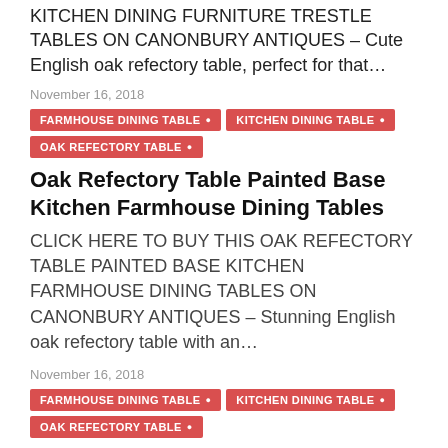KITCHEN DINING FURNITURE TRESTLE TABLES ON CANONBURY ANTIQUES – Cute English oak refectory table, perfect for that…
November 16, 2018
FARMHOUSE DINING TABLE
KITCHEN DINING TABLE
OAK REFECTORY TABLE
Oak Refectory Table Painted Base Kitchen Farmhouse Dining Tables
CLICK HERE TO BUY THIS OAK REFECTORY TABLE PAINTED BASE KITCHEN FARMHOUSE DINING TABLES ON CANONBURY ANTIQUES – Stunning English oak refectory table with an…
November 16, 2018
FARMHOUSE DINING TABLE
KITCHEN DINING TABLE
OAK REFECTORY TABLE
Oak Refectory Table – Kitchen Farmhouse Dining Tables